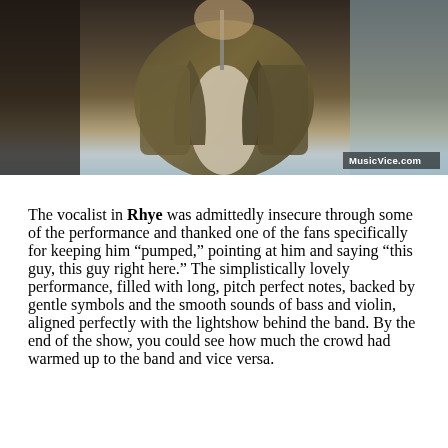[Figure (photo): Concert photo showing a performer on stage wearing a camouflage/olive jacket, with a microphone stand. The image has a MusicVice.com watermark in the bottom right corner.]
The vocalist in Rhye was admittedly insecure through some of the performance and thanked one of the fans specifically for keeping him “pumped,” pointing at him and saying “this guy, this guy right here.” The simplistically lovely performance, filled with long, pitch perfect notes, backed by gentle symbols and the smooth sounds of bass and violin, aligned perfectly with the lightshow behind the band. By the end of the show, you could see how much the crowd had warmed up to the band and vice versa.